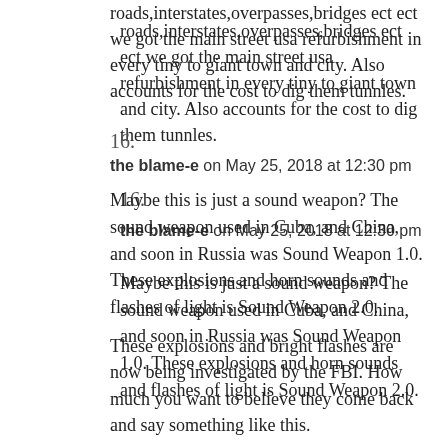roads,interstates,overpasses,bridges ect ect we got the main street usa refurbishment in every tiny to giant town and city. Also accounts for the cost to dig them tunnles.
16.
the blame-e on May 25, 2018 at 12:30 pm
Maybe this is just a sound weapon? The sound weapon used in Cuba, and China, and soon in Russia was Sound Weapon 1.0. These explosions and horn sounds and flashes of light is Sound Weapon 2.0.
These explosions and bright flashes are now being investigated by the FBI. How much you want to believe they come back and say something like this.
FBI: “What sounds? What lights? We didn’t see anything. We didn’t hear anything. You must be imagining things.”
A Hapless, Ignorant Public: “But there were explosions,